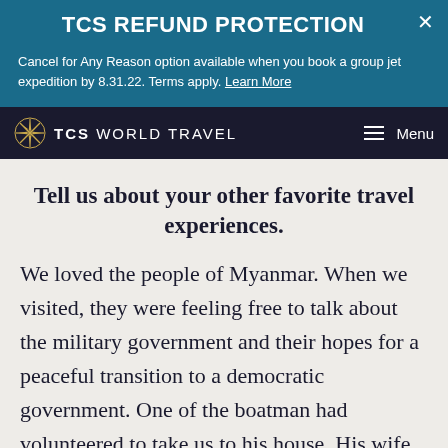TCS REFUND PROTECTION
Cancel for Any Reason option available when you book a group jet expedition by 8.31.22. Terms apply. Learn More
TCS WORLD TRAVEL   Menu
Tell us about your other favorite travel experiences.
We loved the people of Myanmar. When we visited, they were feeling free to talk about the military government and their hopes for a peaceful transition to a democratic government. One of the boatman had volunteered to take us to his house. His wife and sister were both teachers, and we spent a